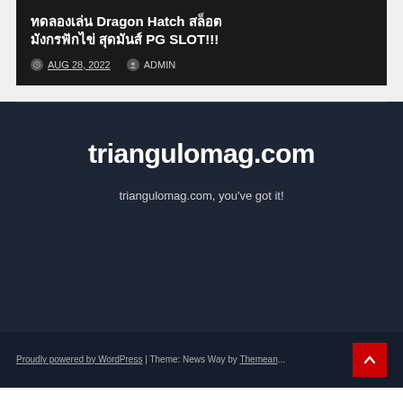ทดลองเล่น Dragon Hatch สล็อต มังกรฟักไข่ สุดมันส์ PG SLOT!!!
AUG 28, 2022  ADMIN
triangulomag.com
triangulomag.com, you've got it!
Proudly powered by WordPress | Theme: News Way by Themean...